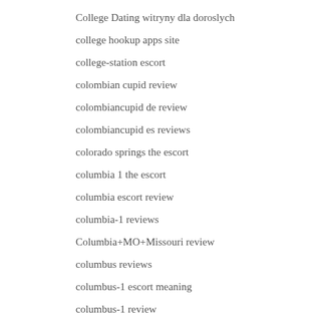College Dating witryny dla doroslych
college hookup apps site
college-station escort
colombian cupid review
colombiancupid de review
colombiancupid es reviews
colorado springs the escort
columbia 1 the escort
columbia escort review
columbia-1 reviews
Columbia+MO+Missouri review
columbus reviews
columbus-1 escort meaning
columbus-1 review
companies that offer payday loans